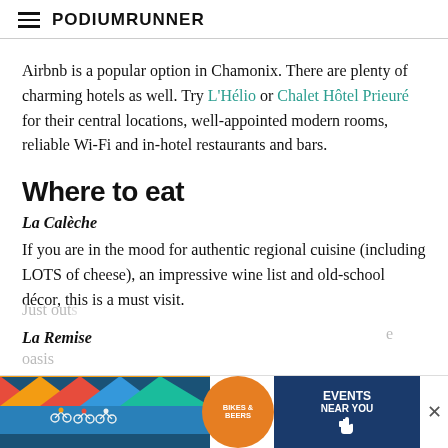PodiumRunner
Airbnb is a popular option in Chamonix. There are plenty of charming hotels as well. Try L’Hélio or Chalet Hôtel Prieuré for their central locations, well-appointed modern rooms, reliable Wi-Fi and in-hotel restaurants and bars.
Where to eat
La Calèche
If you are in the mood for authentic regional cuisine (including LOTS of cheese), an impressive wine list and old-school décor, this is a must visit.
La Remise
Just out... e oasis
[Figure (photo): Advertisement banner for Bikes and Beers event showing cyclists and an orange badge, with Events Near You call to action button]